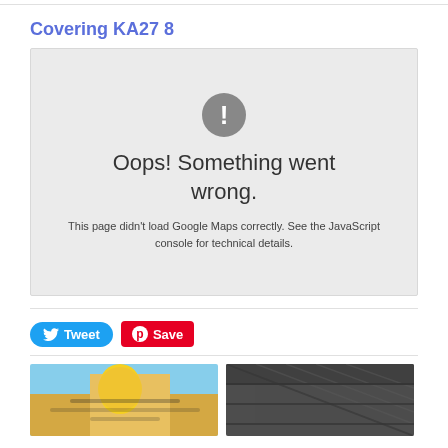Covering KA27 8
[Figure (screenshot): Google Maps error box with grey background showing exclamation icon, 'Oops! Something went wrong.' heading, and 'This page didn't load Google Maps correctly. See the JavaScript console for technical details.' message]
This page didn't load Google Maps correctly. See the JavaScript console for technical details.
[Figure (other): Tweet button (blue, rounded) and Save/Pinterest button (red)]
[Figure (photo): Left photo: person wearing yellow hard hat against blue sky with solar panels]
[Figure (photo): Right photo: interior of industrial building with steel roof structure]